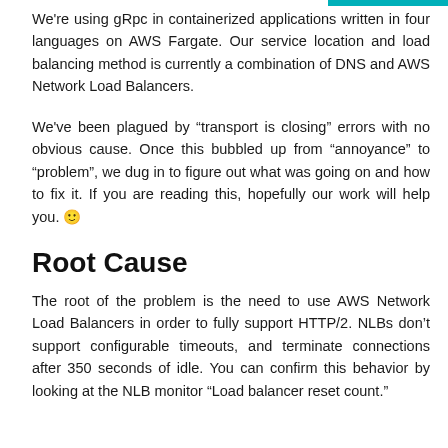We're using gRpc in containerized applications written in four languages on AWS Fargate. Our service location and load balancing method is currently a combination of DNS and AWS Network Load Balancers.
We've been plagued by “transport is closing” errors with no obvious cause. Once this bubbled up from “annoyance” to “problem”, we dug in to figure out what was going on and how to fix it. If you are reading this, hopefully our work will help you. 🙂
Root Cause
The root of the problem is the need to use AWS Network Load Balancers in order to fully support HTTP/2. NLBs don’t support configurable timeouts, and terminate connections after 350 seconds of idle. You can confirm this behavior by looking at the NLB monitor “Load balancer reset count.”